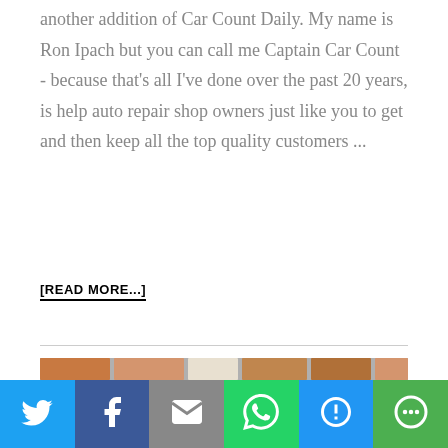another addition of Car Count Daily. My name is Ron Ipach but you can call me Captain Car Count - because that's all I've done over the past 20 years, is help auto repair shop owners just like you to get and then keep all the top quality customers ...
[READ MORE...]
[Figure (photo): Video thumbnail showing a man in front of a brick wall with a YouTube-style red play button overlay]
[Figure (infographic): Social sharing bar with Twitter, Facebook, Email, WhatsApp, SMS, and More buttons]